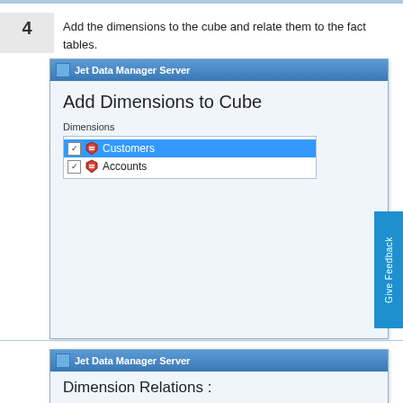4  Add the dimensions to the cube and relate them to the fact tables.
[Figure (screenshot): Jet Data Manager Server dialog showing 'Add Dimensions to Cube' with a Dimensions list containing two checked items: Customers (selected/highlighted in blue) and Accounts.]
[Figure (screenshot): Jet Data Manager Server dialog showing 'Dimension Relations :' heading at the bottom of the page.]